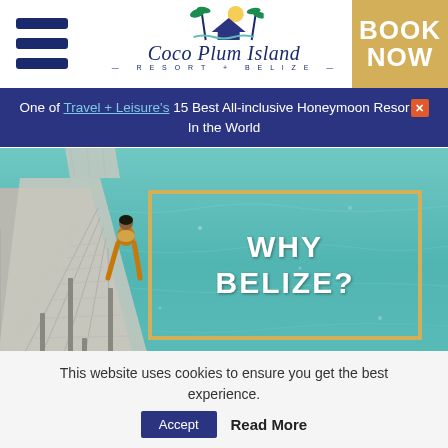[Figure (logo): Coco Plum Island Resort + Belize logo with palm tree icon]
BOOK NOW
One of Travel + Leisure's 15 Best All-inclusive Honeymoon Resorts In the World
[Figure (photo): Aerial view of a wooden pier over turquoise water in Belize, woman in yellow bikini sitting on pier edge]
WHY BELIZE?
This website uses cookies to ensure you get the best experience.
Accept  Read More